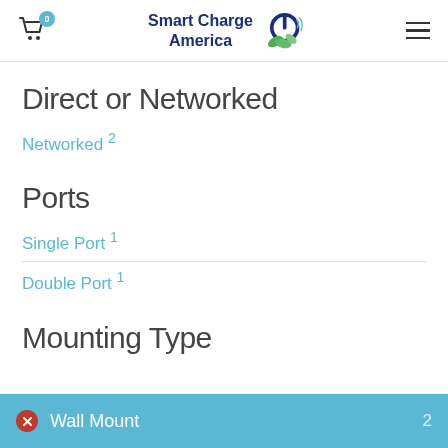Smart Charge America — navigation header with cart (0) and menu
Direct or Networked
Networked 2
Ports
Single Port 1
Double Port 1
Mounting Type
Wall Mount 2